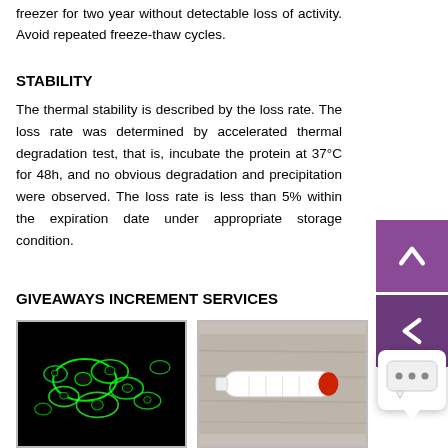freezer for two year without detectable loss of activity. Avoid repeated freeze-thaw cycles.
STABILITY
The thermal stability is described by the loss rate. The loss rate was determined by accelerated thermal degradation test, that is, incubate the protein at 37°C for 48h, and no obvious degradation and precipitation were observed. The loss rate is less than 5% within the expiration date under appropriate storage condition.
GIVEAWAYS
INCREMENT SERVICES
[Figure (photo): Fluorescence microscopy image showing green-stained cells on black background]
[Figure (photo): Photo of a white syringe or tube with red cap on wooden surface]